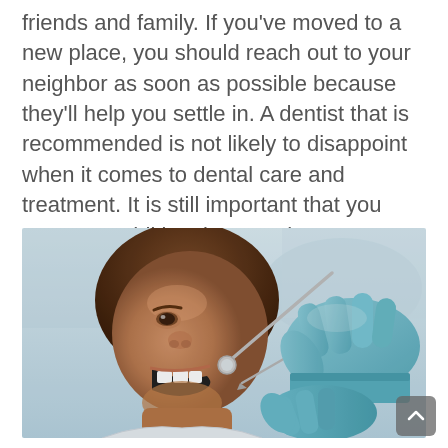friends and family. If you've moved to a new place, you should reach out to your neighbor as soon as possible because they'll help you settle in. A dentist that is recommended is not likely to disappoint when it comes to dental care and treatment. It is still important that you carry out additional research so as to make sure that you're comfortable with the person.
[Figure (photo): A child with mouth open receiving a dental examination from a dentist wearing blue gloves, holding dental instruments.]